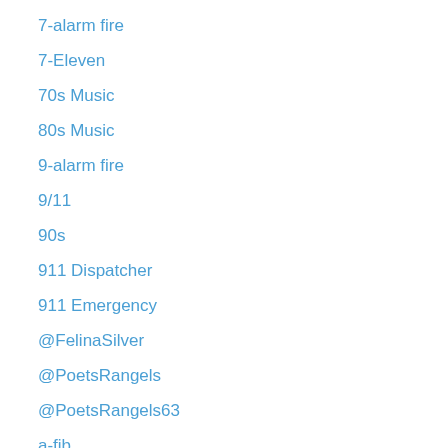7-alarm fire
7-Eleven
70s Music
80s Music
9-alarm fire
9/11
90s
911 Dispatcher
911 Emergency
@FelinaSilver
@PoetsRangels
@PoetsRangels63
a-fib
A-List Customers
A-Rod
Aaron Hernandez
Abandoned
Abduction
Abington MA
abnormal heart rhythm